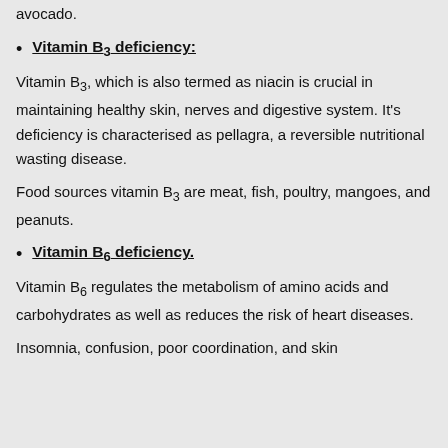avocado.
Vitamin B3 deficiency:
Vitamin B3, which is also termed as niacin is crucial in maintaining healthy skin, nerves and digestive system. It's deficiency is characterised as pellagra, a reversible nutritional wasting disease.
Food sources vitamin B3 are meat, fish, poultry, mangoes, and peanuts.
Vitamin B6 deficiency.
Vitamin B6 regulates the metabolism of amino acids and carbohydrates as well as reduces the risk of heart diseases.
Insomnia, confusion, poor coordination, and skin